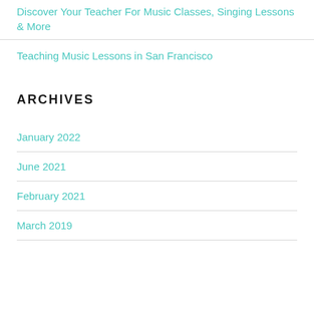Discover Your Teacher For Music Classes, Singing Lessons & More
Teaching Music Lessons in San Francisco
ARCHIVES
January 2022
June 2021
February 2021
March 2019